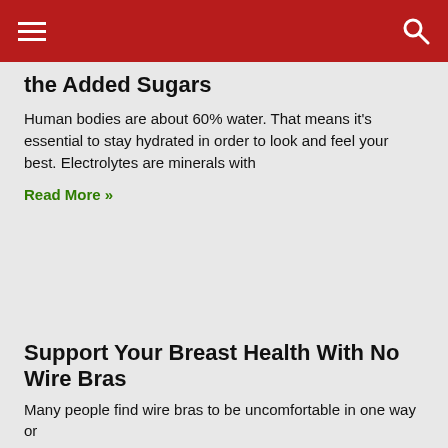☰  🔍
the Added Sugars
Human bodies are about 60% water. That means it's essential to stay hydrated in order to look and feel your best. Electrolytes are minerals with
Read More »
Support Your Breast Health With No Wire Bras
Many people find wire bras to be uncomfortable in one way or